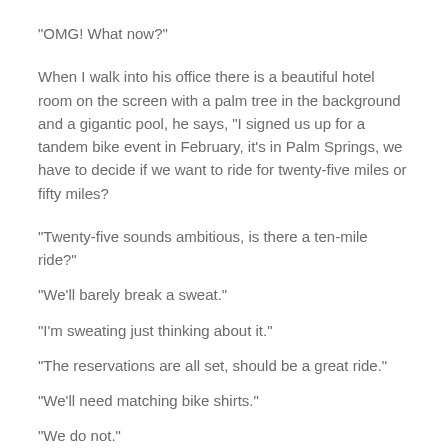“OMG! What now?”
When I walk into his office there is a beautiful hotel room on the screen with a palm tree in the background and a gigantic pool, he says, “I signed us up for a tandem bike event in February, it’s in Palm Springs, we have to decide if we want to ride for twenty-five miles or fifty miles?
“Twenty-five sounds ambitious, is there a ten-mile ride?”
“We’ll barely break a sweat.”
“I’m sweating just thinking about it.”
“The reservations are all set, should be a great ride.”
“We’ll need matching bike shirts.”
“We do not.”